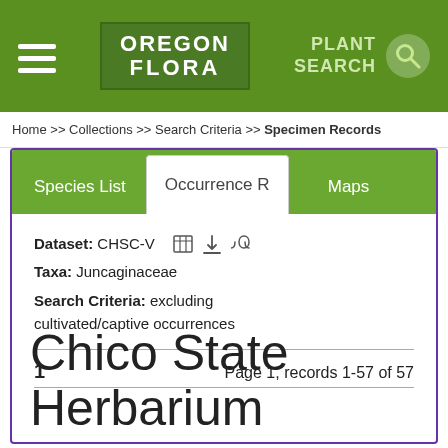OREGON FLORA | PLANT SEARCH
Home >> Collections >> Search Criteria >> Specimen Records
Species List | Occurrence R | Maps
Dataset: CHSC-V
Taxa: Juncaginaceae
Search Criteria: excluding cultivated/captive occurrences
1    Page 1, records 1-57 of 57
Chico State Herbarium